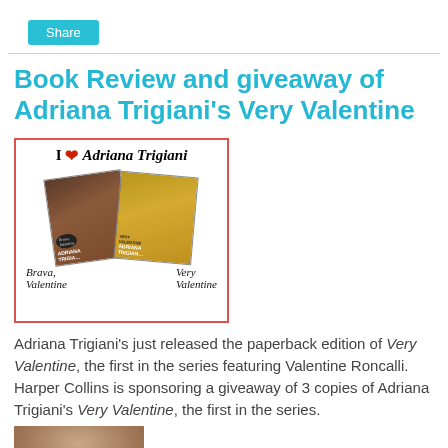Share
Book Review and giveaway of Adriana Trigiani's Very Valentine
[Figure (illustration): Book cover image with 'I ❤ Adriana Trigiani' text at top in red border box, showing two book covers labeled 'Brava, Valentine' and 'Very Valentine']
Adriana Trigiani's just released the paperback edition of Very Valentine, the first in the series featuring Valentine Roncalli. Harper Collins is sponsoring a giveaway of 3 copies of Adriana Trigiani's Very Valentine, the first in the series.
[Figure (photo): Partial photo of a woman at the bottom of the page]